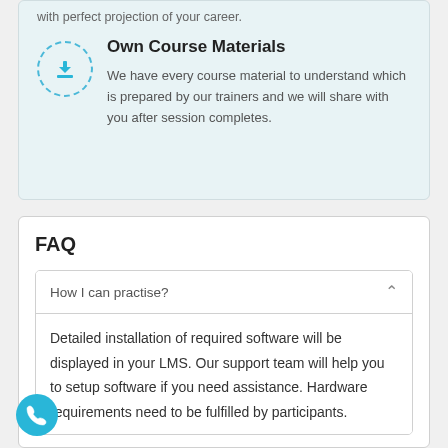with perfect projection of your career.
Own Course Materials
We have every course material to understand which is prepared by our trainers and we will share with you after session completes.
FAQ
How I can practise?
Detailed installation of required software will be displayed in your LMS. Our support team will help you to setup software if you need assistance. Hardware requirements need to be fulfilled by participants.